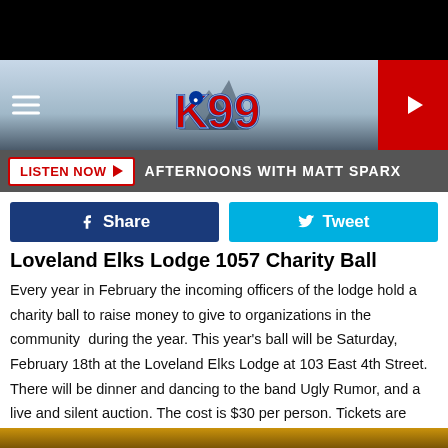[Figure (logo): K99 radio station logo with mountain background and navigation elements]
LISTEN NOW  AFTERNOONS WITH MATT SPARX
[Figure (infographic): Facebook Share button and Twitter Tweet button]
Loveland Elks Lodge 1057 Charity Ball
Every year in February the incoming officers of the lodge hold a charity ball to raise money to give to organizations in the community  during the year. This year's ball will be Saturday, February 18th at the Loveland Elks Lodge at 103 East 4th Street. There will be dinner and dancing to the band Ugly Rumor, and a live and silent auction. The cost is $30 per person. Tickets are available by calling (970) 669-6330.